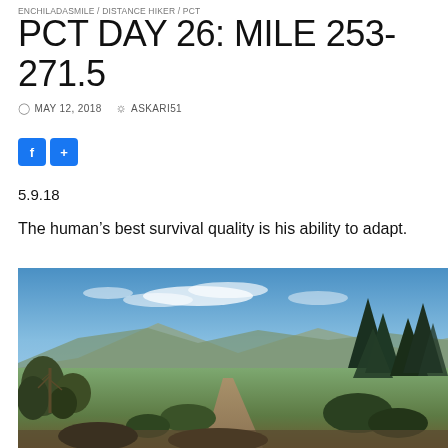ENCHILADASMILE / DISTANCE HIKER / PCT
PCT DAY 26: MILE 253-271.5
MAY 12, 2018   ASKARI51
[Figure (other): Social share buttons: Facebook (f) and plus (+) buttons in blue]
5.9.18
The human’s best survival quality is his ability to adapt.
[Figure (photo): Outdoor trail photo showing a desert/mountain landscape with scrub trees, a dirt trail, mountains in the background, and a partly cloudy blue sky. Pine trees visible on the right side.]